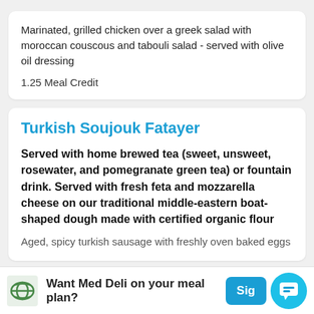Marinated, grilled chicken over a greek salad with moroccan couscous and tabouli salad - served with olive oil dressing
1.25 Meal Credit
Turkish Soujouk Fatayer
Served with home brewed tea (sweet, unsweet, rosewater, and pomegranate green tea) or fountain drink. Served with fresh feta and mozzarella cheese on our traditional middle-eastern boat-shaped dough made with certified organic flour
Aged, spicy turkish sausage with freshly oven baked eggs
Want Med Deli on your meal plan?